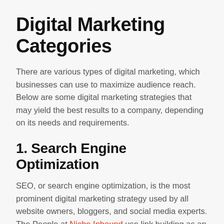Digital Marketing Categories
There are various types of digital marketing, which businesses can use to maximize audience reach. Below are some digital marketing strategies that may yield the best results to a company, depending on its needs and requirements.
1. Search Engine Optimization
SEO, or search engine optimization, is the most prominent digital marketing strategy used by all website owners, bloggers, and social media experts. The People at Niche Inbound use link building as an effective part of SEO strategy. If